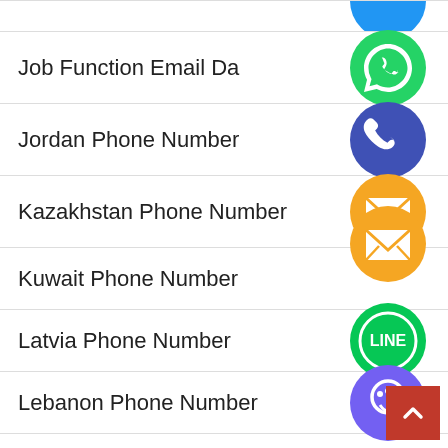Job Function Email Da
Jordan Phone Number
Kazakhstan Phone Number
Kuwait Phone Number
Latvia Phone Number
Lebanon Phone Number
Lista de correo electrónico del país
Lista de e-mail do país